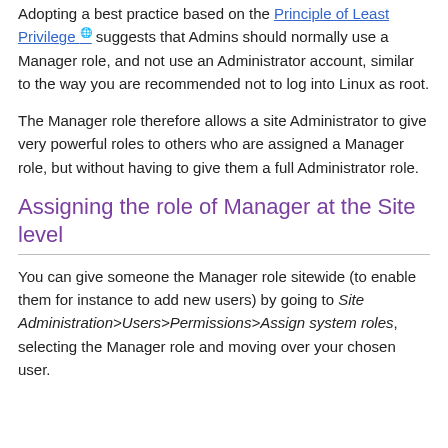Adopting a best practice based on the Principle of Least Privilege suggests that Admins should normally use a Manager role, and not use an Administrator account, similar to the way you are recommended not to log into Linux as root.
The Manager role therefore allows a site Administrator to give very powerful roles to others who are assigned a Manager role, but without having to give them a full Administrator role.
Assigning the role of Manager at the Site level
You can give someone the Manager role sitewide (to enable them for instance to add new users) by going to Site Administration>Users>Permissions>Assign system roles, selecting the Manager role and moving over your chosen user.